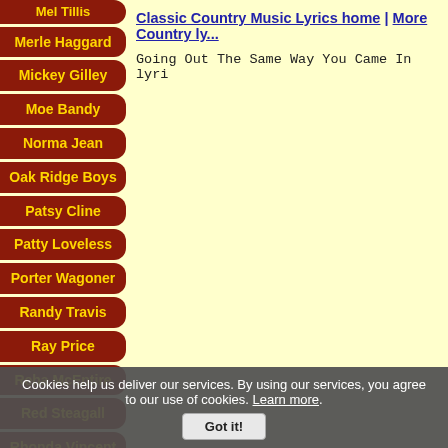Mel Tillis
Merle Haggard
Mickey Gilley
Moe Bandy
Norma Jean
Oak Ridge Boys
Patsy Cline
Patty Loveless
Porter Wagoner
Randy Travis
Ray Price
Reba McEntire
Red Steagall
Rhonda Vincent
Ricky Nelson
Classic Country Music Lyrics home | More Country lyrics
Going Out The Same Way You Came In lyri
Cookies help us deliver our services. By using our services, you agree to our use of cookies. Learn more. Got it!